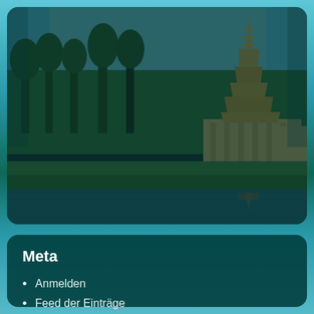[Figure (photo): A scenic photo of a Thai Buddhist temple/pagoda with a golden spire, surrounded by green trees and grass, reflected in a pond/lake. The image has a dark teal overlay darkening the scene. The photo appears as a rounded-corner panel.]
Meta
Anmelden
Feed der Einträge
Kommentare-Feed
.org